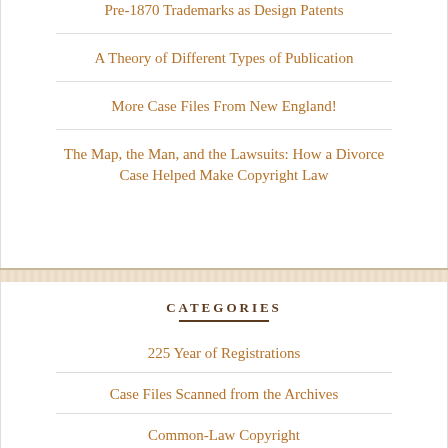Pre-1870 Trademarks as Design Patents
A Theory of Different Types of Publication
More Case Files From New England!
The Map, the Man, and the Lawsuits: How a Divorce Case Helped Make Copyright Law
CATEGORIES
225 Year of Registrations
Case Files Scanned from the Archives
Common-Law Copyright